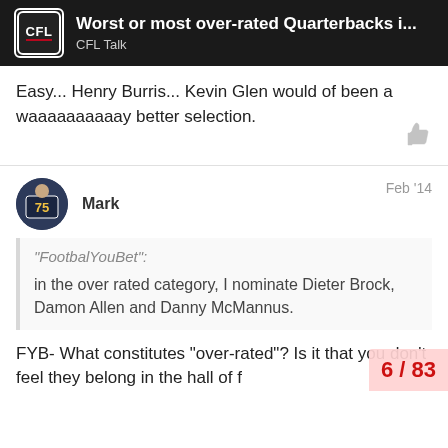Worst or most over-rated Quarterbacks i... | CFL Talk
Easy... Henry Burris... Kevin Glen would of been a waaaaaaaaaay better selection.
Mark  Feb '14
"FootbalYouBet": in the over rated category, I nominate Dieter Brock, Damon Allen and Danny McMannus.
FYB- What constitutes "over-rated"? Is it that you don't feel they belong in the hall of f
6 / 83